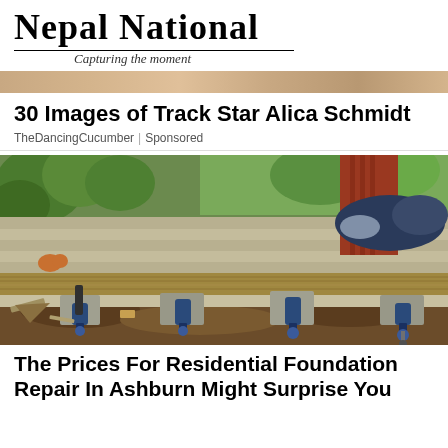Nepal National — Capturing the moment
30 Images of Track Star Alica Schmidt
TheDancingCucumber | Sponsored
[Figure (photo): Photograph showing residential foundation repair work with hydraulic jacks supporting a wooden beam beneath house siding]
The Prices For Residential Foundation Repair In Ashburn Might Surprise You